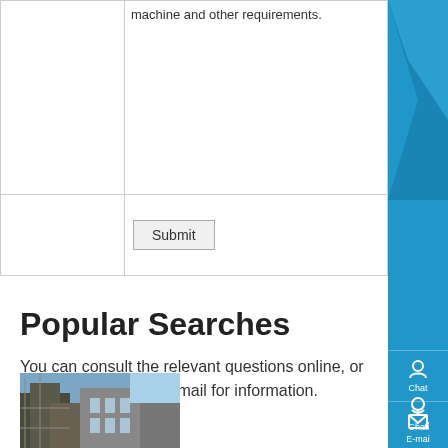|  | machine and other requirements. |
|  | Submit |
Popular Searches
You can consult the relevant questions online, or you can send us an e-mail for information.
[Figure (photo): Industrial or construction site building exterior photo]